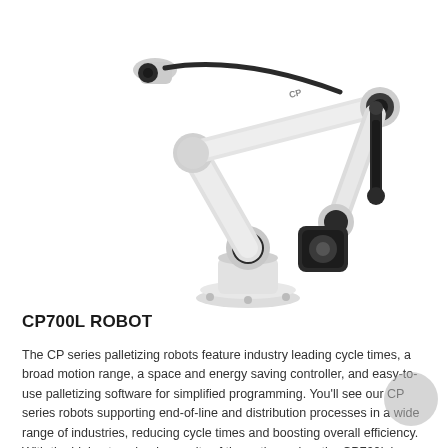[Figure (photo): White industrial palletizing robot arm (CP700L) photographed on white background, showing articulated multi-joint arm with black actuators and base mount]
CP700L ROBOT
The CP series palletizing robots feature industry leading cycle times, a broad motion range, a space and energy saving controller, and easy-to-use palletizing software for simplified programming. You'll see our CP series robots supporting end-of-line and distribution processes in a wide range of industries, reducing cycle times and boosting overall efficiency. With the highest payload capacity of the entire series, the CP700L is capable of lifting heavy products and full pallet layers.